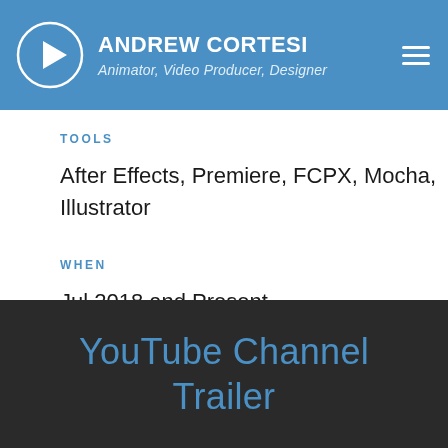ANDREW CORTESI — Animator, Video Producer, Designer
TOOLS
After Effects, Premiere, FCPX, Mocha, Illustrator
WHEN
Jul 2018 and Present
YouTube Channel Trailer